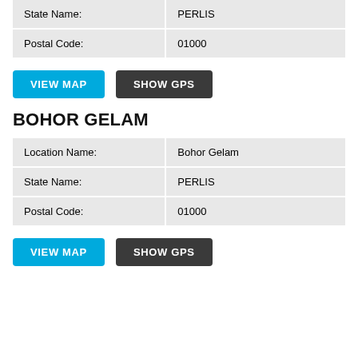| State Name: | PERLIS |
| Postal Code: | 01000 |
VIEW MAP
SHOW GPS
BOHOR GELAM
| Location Name: | Bohor Gelam |
| State Name: | PERLIS |
| Postal Code: | 01000 |
VIEW MAP
SHOW GPS